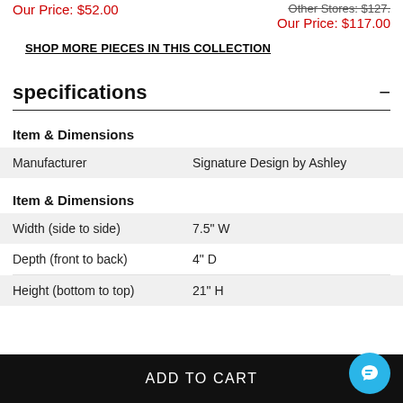Other Stores: $33.00 (strikethrough, left) | Other Stores: $127.00 (strikethrough, right)
Our Price: $52.00 (left) | Our Price: $117.00 (right)
SHOP MORE PIECES IN THIS COLLECTION
specifications
|  |  |
| --- | --- |
| Manufacturer | Signature Design by Ashley |
|  |  |
| --- | --- |
| Width (side to side) | 7.5" W |
| Depth (front to back) | 4" D |
| Height (bottom to top) | 21" H |
ADD TO CART